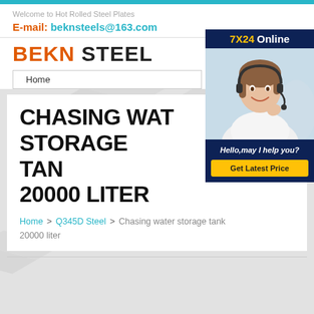Welcome to Hot Rolled Steel Plates
E-mail: beknsteels@163.com
BEKN STEEL
Home
[Figure (photo): Customer service representative wearing headset, smiling. Overlay with '7X24 Online', 'Hello, may I help you?' and 'Get Latest Price' button.]
CHASING WATER STORAGE TANK 20000 LITER
Home > Q345D Steel > Chasing water storage tank 20000 liter